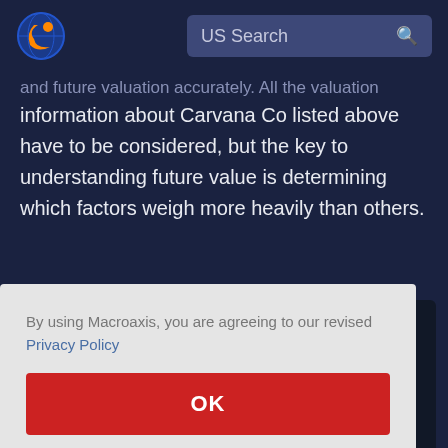[Figure (logo): Macroaxis logo - circular icon with orange and blue globe design]
US Search
and future valuation accurately. All the valuation information about Carvana Co listed above have to be considered, but the key to understanding future value is determining which factors weigh more heavily than others.
By using Macroaxis, you are agreeing to our revised Privacy Policy
OK
-0.071